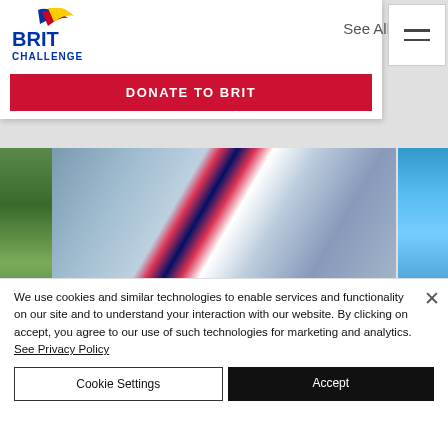[Figure (logo): BRIT Challenge logo with coloured swoosh and red/blue text]
See All
[Figure (screenshot): Navigation hamburger menu icon]
[Figure (photo): Donate to BRIT red button banner]
[Figure (photo): Paralympic athlete holding mascot, wearing Great Britain uniform]
Paralympic, World &
We use cookies and similar technologies to enable services and functionality on our site and to understand your interaction with our website. By clicking on accept, you agree to our use of such technologies for marketing and analytics. See Privacy Policy
Cookie Settings
Accept